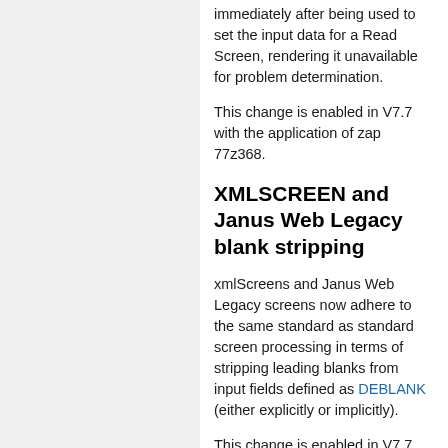immediately after being used to set the input data for a Read Screen, rendering it unavailable for problem determination.
This change is enabled in V7.7 with the application of zap 77z368.
XMLSCREEN and Janus Web Legacy blank stripping
xmlScreens and Janus Web Legacy screens now adhere to the same standard as standard screen processing in terms of stripping leading blanks from input fields defined as DEBLANK (either explicitly or implicitly).
This change is enabled in V7.7 with the application of zap 77z400.